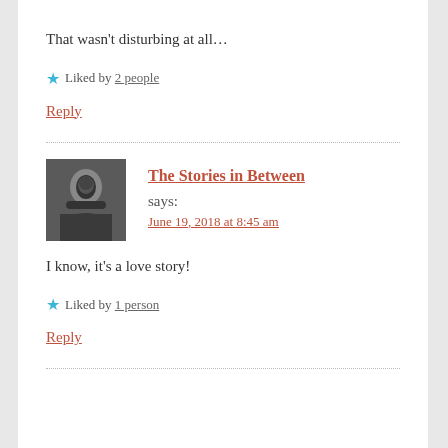That wasn't disturbing at all…
★ Liked by 2 people
Reply
The Stories in Between says:
June 19, 2018 at 8:45 am
I know, it's a love story!
★ Liked by 1 person
Reply